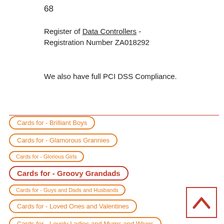68
Register of Data Controllers - Registration Number ZA018292
We also have full PCI DSS Compliance.
Cards for - Brilliant Boys
Cards for - Glamorous Grannies
Cards for - Glorious Girls
Cards for - Groovy Grandads
Cards for - Guys and Dads and Husbands
Cards for - Loved Ones and Valentines
Cards for - Lovely Ladies and Mums and Wives